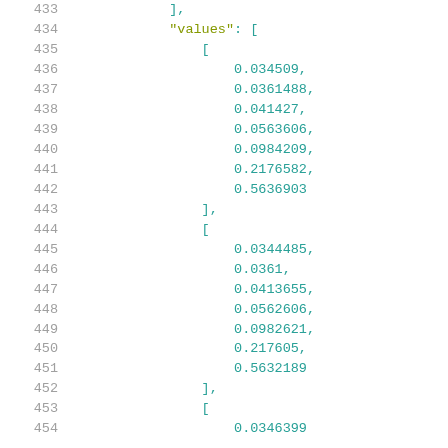Code listing lines 433–454 showing JSON 'values' array with nested numeric arrays containing float values: 0.034509, 0.0361488, 0.041427, 0.0563606, 0.0984209, 0.2176582, 0.5636903 and 0.0344485, 0.0361, 0.0413655, 0.0562606, 0.0982621, 0.217605, 0.5632189 and starting 0.0346399